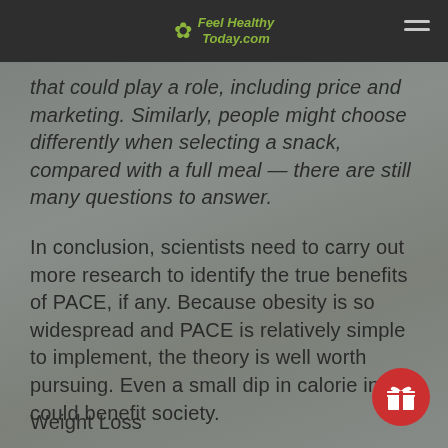Feel Healthy Today.com
that could play a role, including price and marketing. Similarly, people might choose differently when selecting a snack, compared with a full meal — there are still many questions to answer.
In conclusion, scientists need to carry out more research to identify the true benefits of PACE, if any. Because obesity is so widespread and PACE is relatively simple to implement, the theory is well worth pursuing. Even a small dip in calorie intake could benefit society.
Weight Loss